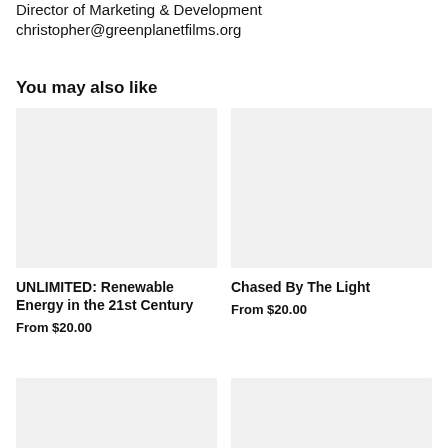Director of Marketing & Development
christopher@greenplanetfilms.org
You may also like
[Figure (illustration): Placeholder image for UNLIMITED: Renewable Energy in the 21st Century]
UNLIMITED: Renewable Energy in the 21st Century
From $20.00
[Figure (illustration): Placeholder image for Chased By The Light]
Chased By The Light
From $20.00
[Figure (illustration): Placeholder image bottom left]
[Figure (illustration): Placeholder image bottom right]